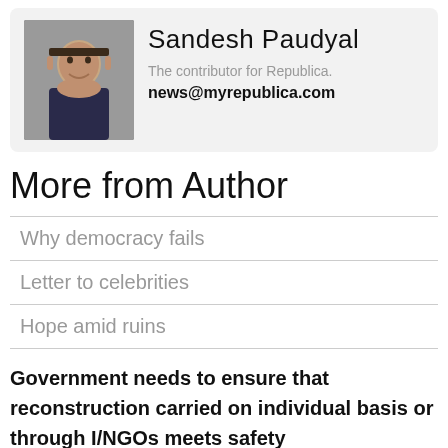[Figure (photo): Headshot photo of Sandesh Paudyal, a young man smiling]
Sandesh Paudyal
The contributor for Republica.
news@myrepublica.com
More from Author
Why democracy fails
Letter to celebrities
Hope amid ruins
Government needs to ensure that reconstruction carried on individual basis or through I/NGOs meets safety